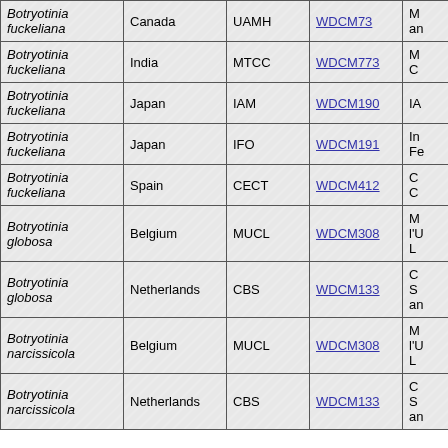| Species | Country | Collection | WDCM | Full Name |
| --- | --- | --- | --- | --- |
| Botryotinia fuckeliana | Canada | UAMH | WDCM73 | M... an... |
| Botryotinia fuckeliana | India | MTCC | WDCM773 | M... C... |
| Botryotinia fuckeliana | Japan | IAM | WDCM190 | IA... |
| Botryotinia fuckeliana | Japan | IFO | WDCM191 | In... Fe... |
| Botryotinia fuckeliana | Spain | CECT | WDCM412 | C... C... |
| Botryotinia globosa | Belgium | MUCL | WDCM308 | M... l'U... L... |
| Botryotinia globosa | Netherlands | CBS | WDCM133 | C... S... an... |
| Botryotinia narcissicola | Belgium | MUCL | WDCM308 | M... l'U... L... |
| Botryotinia narcissicola | Netherlands | CBS | WDCM133 | C... S... an... |